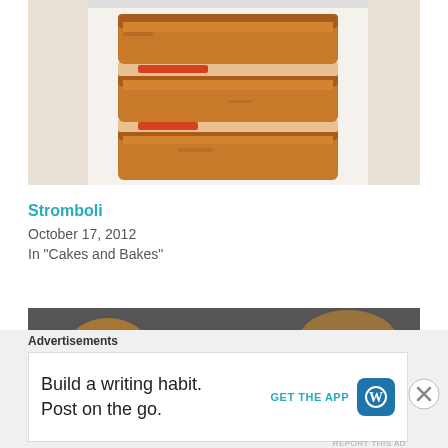[Figure (photo): Sliced stromboli on a white plate showing layers of baked dough with filling visible]
Stromboli
October 17, 2012
In "Cakes and Bakes"
[Figure (photo): A chocolate chip cookie in focus on a dark baking tray with more cookies blurred in background]
Advertisements
Build a writing habit. Post on the go.
GET THE APP